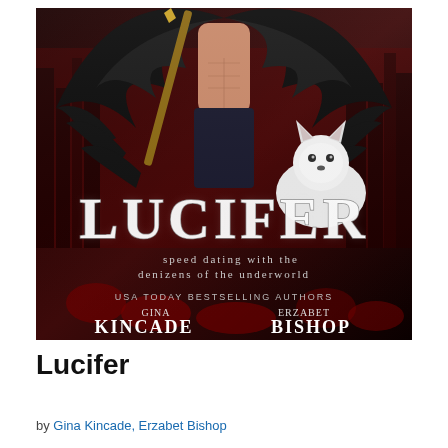[Figure (illustration): Book cover for 'Lucifer: Speed Dating with the Denizens of the Underworld' by USA Today Bestselling Authors Gina Kincade and Erzabet Bishop. Dark fantasy cover showing a muscular shirtless man with large black wings holding a staff, a white wolf beside him, against a dark red cityscape background. The title LUCIFER is displayed prominently in large metallic letters.]
Lucifer
by Gina Kincade, Erzabet Bishop